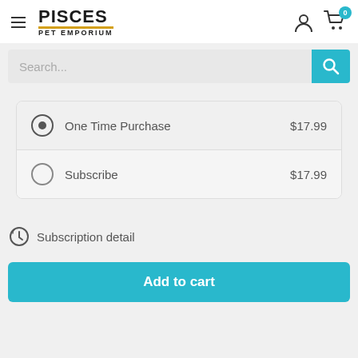[Figure (logo): Pisces Pet Emporium logo with hamburger menu, user icon, and cart icon with 0 badge]
Search...
| One Time Purchase | $17.99 |
| Subscribe | $17.99 |
Subscription detail
Add to cart